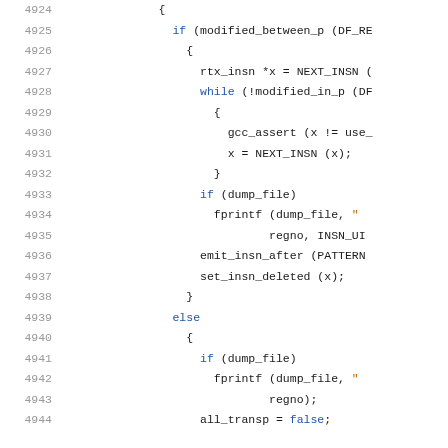Source code listing, lines 4924-4944, showing C code with line numbers on the left and syntax-highlighted code on the right.